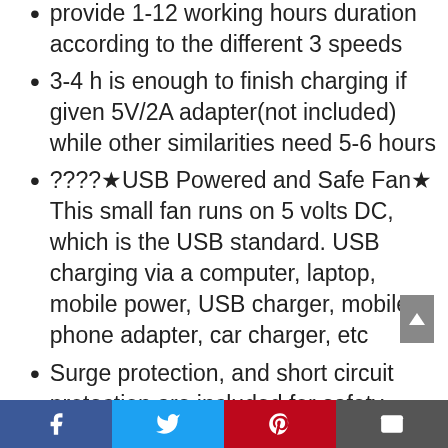provide 1-12 working hours duration according to the different 3 speeds
3-4 h is enough to finish charging if given 5V/2A adapter(not included) while other similarities need 5-6 hours
????★USB Powered and Safe Fan★ This small fan runs on 5 volts DC, which is the USB standard. USB charging via a computer, laptop, mobile power, USB charger, mobile phone adapter, car charger, etc
Surge protection, and short circuit protection are included for safety.